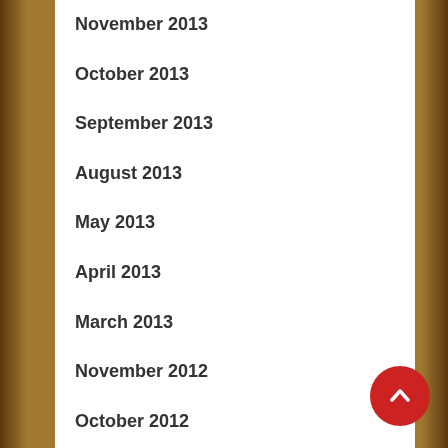November 2013
October 2013
September 2013
August 2013
May 2013
April 2013
March 2013
November 2012
October 2012
September 2012
July 2012
June 2012
May 2012
April 2012
[Figure (illustration): Red circular back-to-top button with white upward chevron arrow]